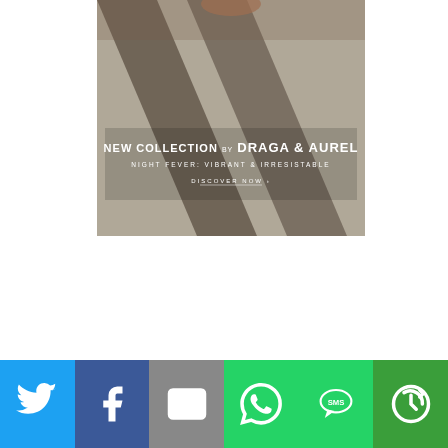[Figure (photo): Advertisement image showing a textured concrete/carpet floor with dramatic shadows, featuring text overlay: NEW COLLECTION BY DRAGA & AUREL / NIGHT FEVER: VIBRANT & IRRESISTABLE / DISCOVER NOW ›]
[Figure (infographic): Social media share bar with six buttons: Twitter (light blue), Facebook (dark blue), Email/Mail (gray), WhatsApp (green), SMS (green), and More/Share (darker green)]